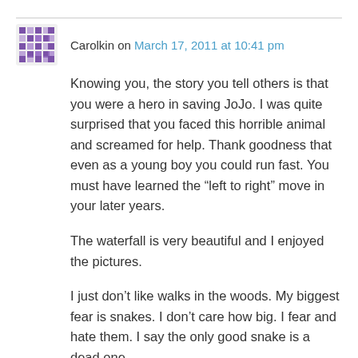Carolkin on March 17, 2011 at 10:41 pm
Knowing you, the story you tell others is that you were a hero in saving JoJo. I was quite surprised that you faced this horrible animal and screamed for help. Thank goodness that even as a young boy you could run fast. You must have learned the “left to right” move in your later years.
The waterfall is very beautiful and I enjoyed the pictures.
I just don’t like walks in the woods. My biggest fear is snakes. I don’t care how big. I fear and hate them. I say the only good snake is a dead one.